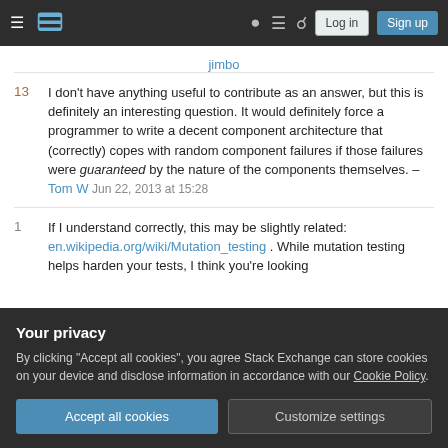Stack Exchange navigation bar with Log in and Sign up buttons
jimbo
13  I don't have anything useful to contribute as an answer, but this is definitely an interesting question. It would definitely force a programmer to write a decent component architecture that (correctly) copes with random component failures if those failures were guaranteed by the nature of the components themselves. – Tom W  Jun 22, 2013 at 15:28
1  If I understand correctly, this may be slightly related: en.wikipedia.org/wiki/Mutation_testing . While mutation testing helps harden your tests, I think you're looking
Your privacy
By clicking "Accept all cookies", you agree Stack Exchange can store cookies on your device and disclose information in accordance with our Cookie Policy.
Accept all cookies   Customize settings
implementation tested if you didn't test it over an